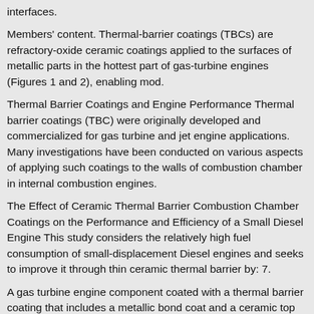interfaces.
Members' content. Thermal-barrier coatings (TBCs) are refractory-oxide ceramic coatings applied to the surfaces of metallic parts in the hottest part of gas-turbine engines (Figures 1 and 2), enabling mod.
Thermal Barrier Coatings and Engine Performance Thermal barrier coatings (TBC) were originally developed and commercialized for gas turbine and jet engine applications. Many investigations have been conducted on various aspects of applying such coatings to the walls of combustion chamber in internal combustion engines.
The Effect of Ceramic Thermal Barrier Combustion Chamber Coatings on the Performance and Efficiency of a Small Diesel Engine This study considers the relatively high fuel consumption of small-displacement Diesel engines and seeks to improve it through thin ceramic thermal barrier by: 7.
A gas turbine engine component coated with a thermal barrier coating that includes a metallic bond coat and a ceramic top coat is repaired by removing the ceramic top coat from an engine-run gas turbine engine component and inspecting the component.